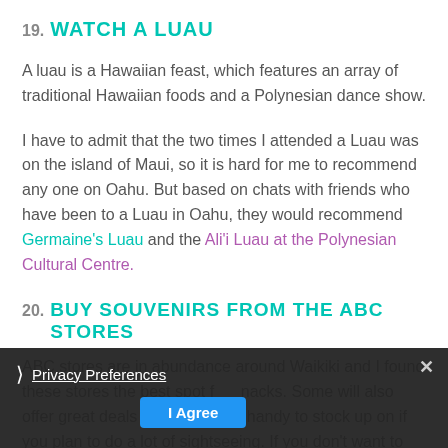19. WATCH A LUAU
A luau is a Hawaiian feast, which features an array of traditional Hawaiian foods and a Polynesian dance show.
I have to admit that the two times I attended a Luau was on the island of Maui, so it is hard for me to recommend any one on Oahu. But based on chats with friends who have been to a Luau in Oahu, they would recommend Germaine's Luau and the Ali'i Luau at the Polynesian Cultural Centre.
20. BUY SOUVENIRS FROM THE ABC STORES
ABC stores are in abundance around Waikiki and I found these stores the best spot f  nacks. Some will also offer great deals on bott  h is handy to stock up on if you plan to do a lot of sightseeing. If you don't want to eat at a